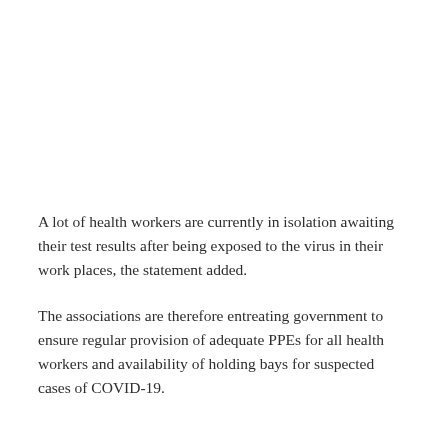A lot of health workers are currently in isolation awaiting their test results after being exposed to the virus in their work places, the statement added.
The associations are therefore entreating government to ensure regular provision of adequate PPEs for all health workers and availability of holding bays for suspected cases of COVID-19.